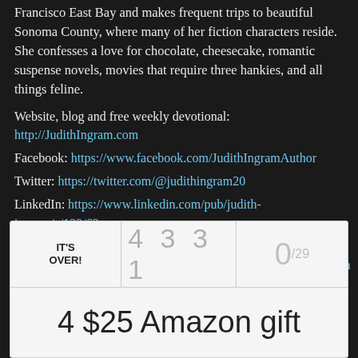Francisco East Bay and makes frequent trips to beautiful Sonoma County, where many of her fiction characters reside. She confesses a love for chocolate, cheesecake, romantic suspense novels, movies that require three hankies, and all things feline.
Website, blog and free weekly devotional: http://JudithIngram.com
Facebook: https://www.facebook.com/JudithIngramAuthor
Twitter: https://twitter.com/@judithingram20
LinkedIn: https://www.linkedin.com/pub/judith-ingram/a/122/62
Goodreads: https://www.goodreads.com/author/show/5356538.Judith_Ingram
| IT'S OVER! | 4 3 3 1 | 0/29 |
| --- | --- | --- |
| 4 $25 Amazon gift |  |  |